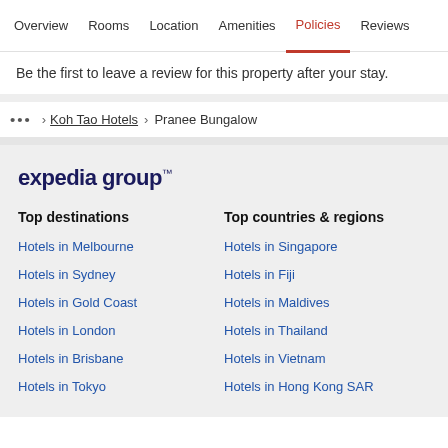Overview  Rooms  Location  Amenities  Policies  Reviews
Be the first to leave a review for this property after your stay.
... > Koh Tao Hotels > Pranee Bungalow
[Figure (logo): Expedia group logo]
Top destinations
Hotels in Melbourne
Hotels in Sydney
Hotels in Gold Coast
Hotels in London
Hotels in Brisbane
Hotels in Tokyo
Top countries & regions
Hotels in Singapore
Hotels in Fiji
Hotels in Maldives
Hotels in Thailand
Hotels in Vietnam
Hotels in Hong Kong SAR